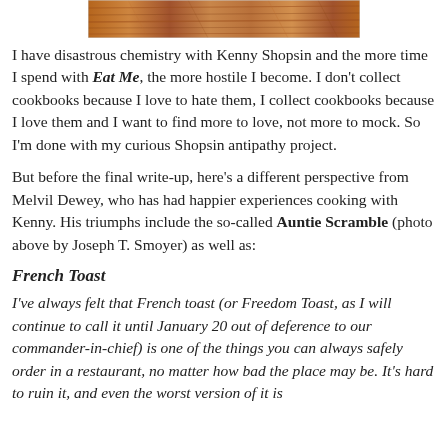[Figure (photo): Photo of a wooden surface or food item, cropped at top of page, credit to Joseph T. Smoyer]
I have disastrous chemistry with Kenny Shopsin and the more time I spend with Eat Me, the more hostile I become. I don't collect cookbooks because I love to hate them, I collect cookbooks because I love them and I want to find more to love, not more to mock. So I'm done with my curious Shopsin antipathy project.
But before the final write-up, here's a different perspective from Melvil Dewey, who has had happier experiences cooking with Kenny. His triumphs include the so-called Auntie Scramble (photo above by Joseph T. Smoyer) as well as:
French Toast
I've always felt that French toast (or Freedom Toast, as I will continue to call it until January 20 out of deference to our commander-in-chief) is one of the things you can always safely order in a restaurant, no matter how bad the place may be. It's hard to ruin it, and even the worst version of it is